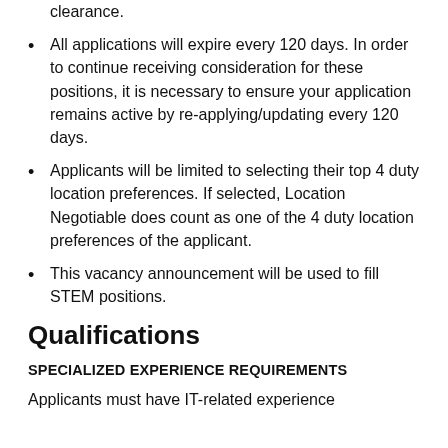clearance.
All applications will expire every 120 days. In order to continue receiving consideration for these positions, it is necessary to ensure your application remains active by re-applying/updating every 120 days.
Applicants will be limited to selecting their top 4 duty location preferences. If selected, Location Negotiable does count as one of the 4 duty location preferences of the applicant.
This vacancy announcement will be used to fill STEM positions.
Qualifications
SPECIALIZED EXPERIENCE REQUIREMENTS
Applicants must have IT-related experience